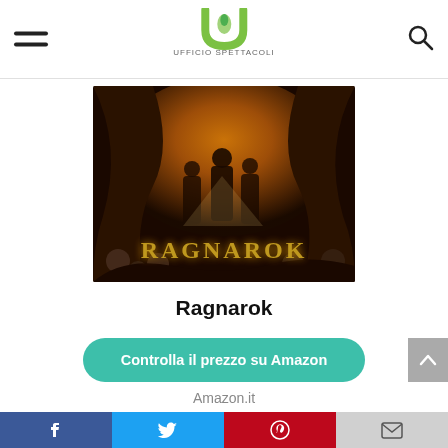Ufficio Spettacoli – hamburger menu, logo, search icon
[Figure (photo): Ragnarok movie poster: group of people standing in a cave with glowing orange light and skulls, title 'RAGNAROK' in runic golden letters]
Ragnarok
Controlla il prezzo su Amazon
Amazon.it
[Figure (photo): Partial view of another movie poster (bottom of page, cropped)]
Social share bar: Facebook, Twitter, Pinterest, Email